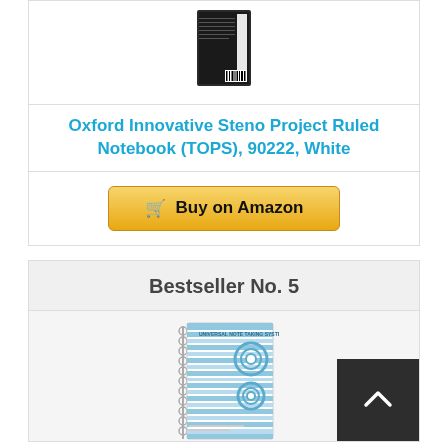[Figure (photo): Steno project ruled notebook product image (black cover with barcode)]
Oxford Innovative Steno Project Ruled Notebook (TOPS), 90222, White
Buy on Amazon
Bestseller No. 5
[Figure (photo): Universal Note Taking System spiral notebook product image with blue/white striped cover]